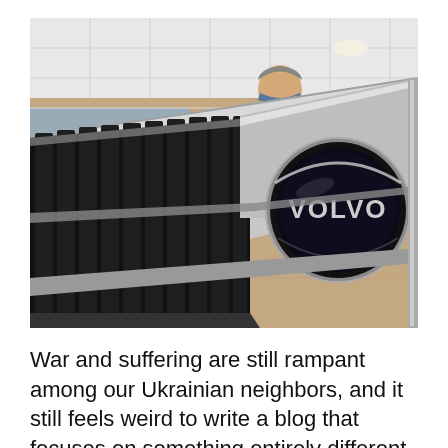[Figure (photo): Close-up photo of a Volvo car grille in a dealership showroom. The large black vertical-slatted grille dominates the foreground with the circular chrome Volvo logo badge prominently displayed on the right. A masked man in a white shirt stands behind the car. Another silver Volvo is visible in the background left.]
War and suffering are still rampant among our Ukrainian neighbors, and it still feels weird to write a blog that focuses on something entirely different.